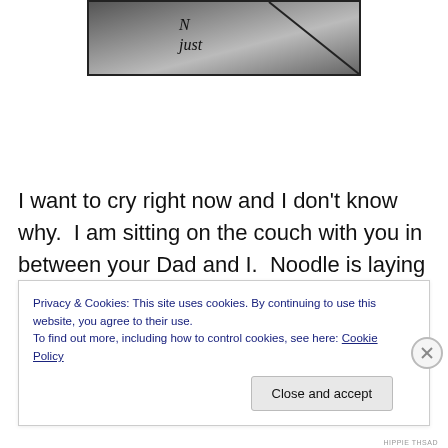[Figure (photo): Black and white photo showing handwritten text including the word 'just', with a diagonal line across the image.]
I want to cry right now and I don't know why.  I am sitting on the couch with you in between your Dad and I.  Noodle is laying at his feet.  You are napping deliciously.  Nothing could
Privacy & Cookies: This site uses cookies. By continuing to use this website, you agree to their use.
To find out more, including how to control cookies, see here: Cookie Policy
Close and accept
HIPPIE THSAD